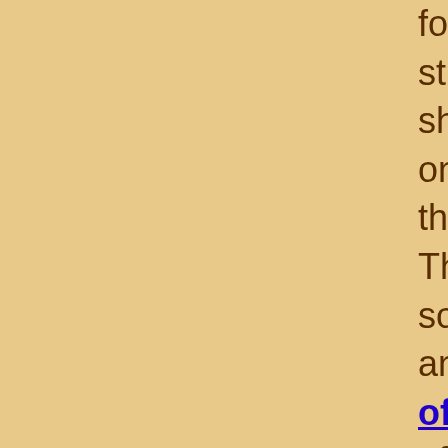He was a true Yorkshire man who once found a packet of five razor blades in the street, obviously escaped from a passing shopping bag, and not wanting to miss out on this gift from the gods promptly bought the razor to match !. This is a true story and one of these days someone will cajole me into extending this anthology to cover the many other instances of his thrift, as he truly fitted the description of a Yorkshire-man being akin to a Scotsman but devoid of their natural generosity.
Len took his final retirement at the age of 83 in his kitchen whilst grabbing a ham sandwich in between coming in from his morning U3A meeting, and going out to attend another some such gathering in the afternoon, and the best I can wish you is that you are as active as he was in the twilight of your years.
This site was created partly as a tribute to Len (mi dad, and mi bruvvers dad) and the many friends who share and shared